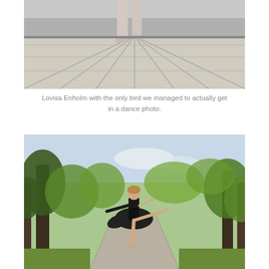[Figure (photo): Black and white photo of ballet dancer's feet en pointe on a wooden dock/boardwalk near water]
Lovisa Enholm with the only bird we managed to actually get in a dance photo.
[Figure (photo): Color photo of a ballet dancer in a black dress performing an arabesque on a tree-lined path in a park]